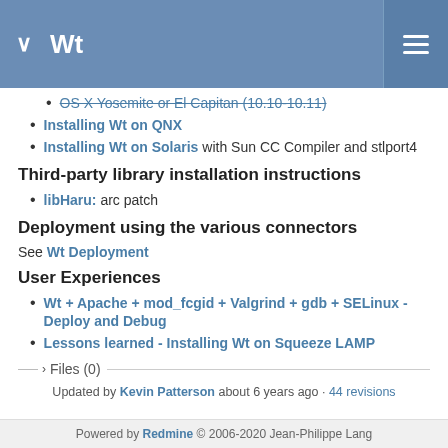Wt
OS X Yosemite or El Capitan (10.10-10.11)
Installing Wt on QNX
Installing Wt on Solaris with Sun CC Compiler and stlport4
Third-party library installation instructions
libHaru: arc patch
Deployment using the various connectors
See Wt Deployment
User Experiences
Wt + Apache + mod_fcgid + Valgrind + gdb + SELinux - Deploy and Debug
Lessons learned - Installing Wt on Squeeze LAMP
Files (0)
Updated by Kevin Patterson about 6 years ago · 44 revisions
Powered by Redmine © 2006-2020 Jean-Philippe Lang